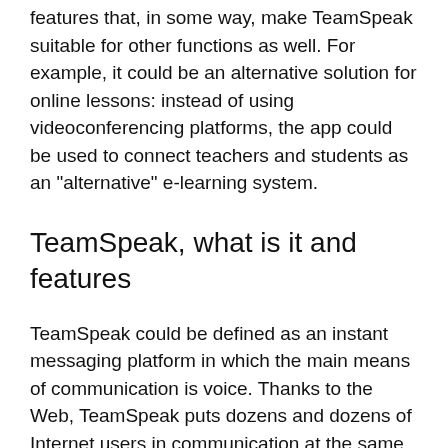features that, in some way, make TeamSpeak suitable for other functions as well. For example, it could be an alternative solution for online lessons: instead of using videoconferencing platforms, the app could be used to connect teachers and students as an "alternative" e-learning system.
TeamSpeak, what is it and features
TeamSpeak could be defined as an instant messaging platform in which the main means of communication is voice. Thanks to the Web, TeamSpeak puts dozens and dozens of Internet users in communication at the same time, allowing them to talk live about their favorite topics. Due to its versatility and lightness, it is the solution